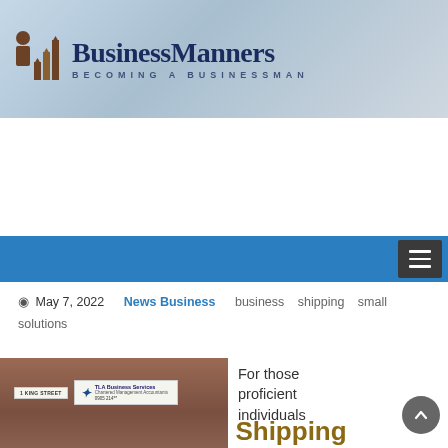[Figure (screenshot): BusinessManners website header banner with logo (person and bar chart icon) and text 'BusinessManners / BECOMING A BUSINESSMAN' on a keyboard background photo]
BusinessManners — BECOMING A BUSINESSMAN
Home / Small Business Shipping Solutions
Small Business Shipping Solutions
May 7, 2022   News Business   business   shipping   small   solutions
[Figure (photo): Brick wall with business signs including '1 KING STREET' and 'TLA Business Services' sign]
For those proficient individuals